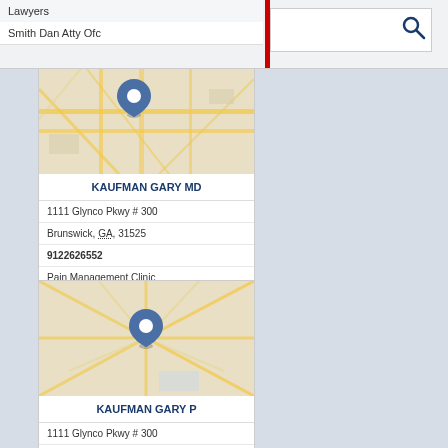Lawyers
Smith Dan Atty Ofc
[Figure (screenshot): Search bar with red vertical bar and magnifying glass search icon on right]
[Figure (map): Street map with blue location pin marker for Kaufman Gary MD]
KAUFMAN GARY MD
1111 Glynco Pkwy # 300
Brunswick, GA, 31525
9122626552
Pain Management Clinic
[Figure (map): Street map with blue location pin marker for Kaufman Gary P]
KAUFMAN GARY P
1111 Glynco Pkwy # 300
Brunswick, GA, 31525
9122626552
Doctor
Doctors Office